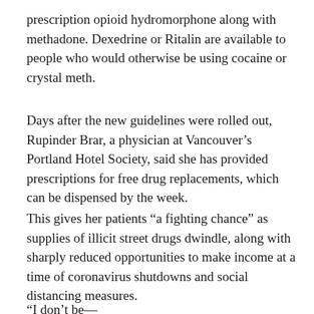prescription opioid hydromorphone along with methadone. Dexedrine or Ritalin are available to people who would otherwise be using cocaine or crystal meth.
Days after the new guidelines were rolled out, Rupinder Brar, a physician at Vancouver's Portland Hotel Society, said she has provided prescriptions for free drug replacements, which can be dispensed by the week.
This gives her patients “a fighting chance” as supplies of illicit street drugs dwindle, along with sharply reduced opportunities to make income at a time of coronavirus shutdowns and social distancing measures.
“I don’t be—